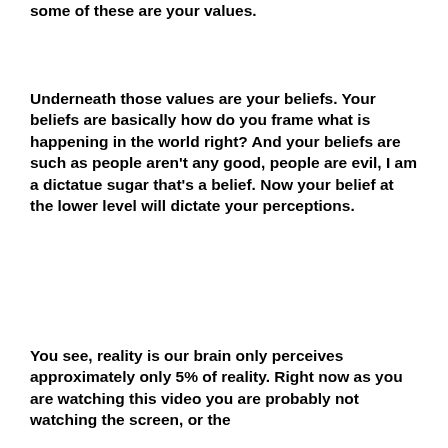some of these are your values.
Underneath those values are your beliefs. Your beliefs are basically how do you frame what is happening in the world right? And your beliefs are such as people aren't any good, people are evil, I am a dictatue sugar that's a belief. Now your belief at the lower level will dictate your perceptions.
You see, reality is our brain only perceives approximately only 5% of reality. Right now as you are watching this video you are probably not watching the screen, or the